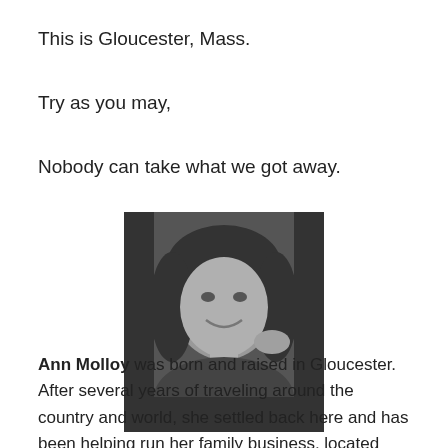This is Gloucester, Mass.
Try as you may,
Nobody can take what we got away.
[Figure (photo): Black and white portrait photo of Ann Molloy, a woman with long dark hair, smiling, hand near her face.]
Ann Molloy was born and raised in Gloucester. After several years of traveling around the country and world, she settled back here and has been helping run her family business, located down the Fort and on Kondelin Road. For over 20 years, Ann has been in charge of Marketing